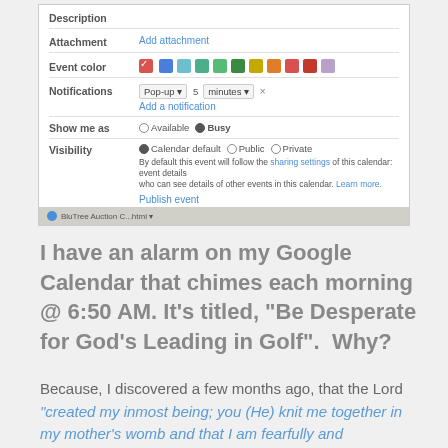[Figure (screenshot): Screenshot of Google Calendar event creation form showing fields: Description (empty), Attachment (Add attachment link), Event color (checkbox with color swatches), Notifications (Pop-up, 5 minutes), Show me as (Available / Busy), Visibility (Calendar default / Public / Private), with sharing settings note and Publish event link. Bottom bar shows browser tab for BluTree Auction Calendar.]
I have an alarm on my Google Calendar that chimes each morning @ 6:50 AM. It's titled, "Be Desperate for God's Leading in Golf".  Why?
Because, I discovered a few months ago, that the Lord "created my inmost being; you (He) knit me together in my mother's womb and that I am fearfully and wonderfully